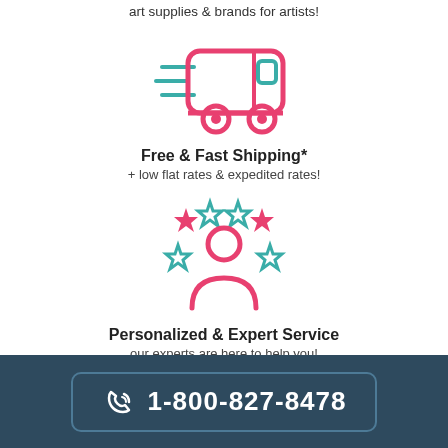art supplies & brands for artists!
[Figure (illustration): Icon of a delivery truck with speed lines, pink/red wheels and outline, teal window]
Free & Fast Shipping*
+ low flat rates & expedited rates!
[Figure (illustration): Icon of a person with five stars around them, pink person outline, teal and pink stars]
Personalized & Expert Service
our experts are here to help you!
1-800-827-8478